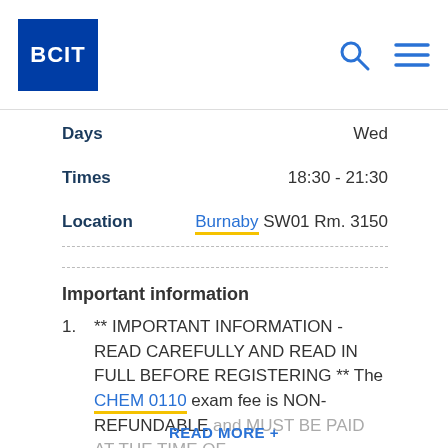BCIT
| Field | Value |
| --- | --- |
| Days | Wed |
| Times | 18:30 - 21:30 |
| Location | Burnaby SW01 Rm. 3150 |
Important information
** IMPORTANT INFORMATION - READ CAREFULLY AND READ IN FULL BEFORE REGISTERING ** The CHEM 0110 exam fee is NON-REFUNDABLE and MUST BE PAID AT THE TIME OF
READ MORE +